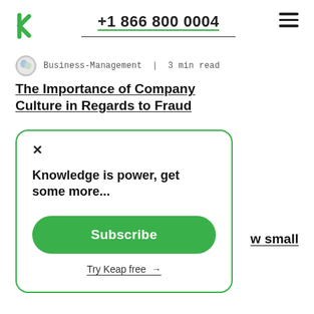+1 866 800 0004
Business-Management | 3 min read
The Importance of Company Culture in Regards to Fraud
Knowledge is power, get some more...
Subscribe
Try Keap free →
w small